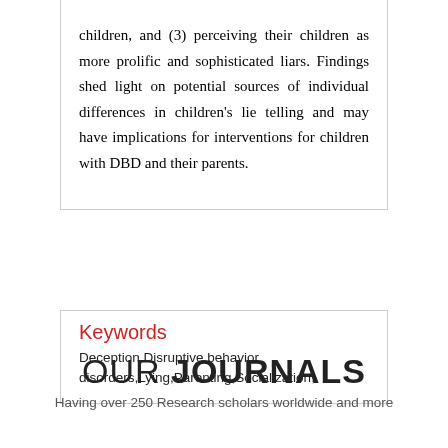children, and (3) perceiving their children as more prolific and sophisticated liars. Findings shed light on potential sources of individual differences in children's lie telling and may have implications for interventions for children with DBD and their parents.
Keywords
Deception,Disruptive behavior disorders,Lying,Parenting,Socialization,
OUR JOURNALS
Having over 250 Research scholars worldwide and more